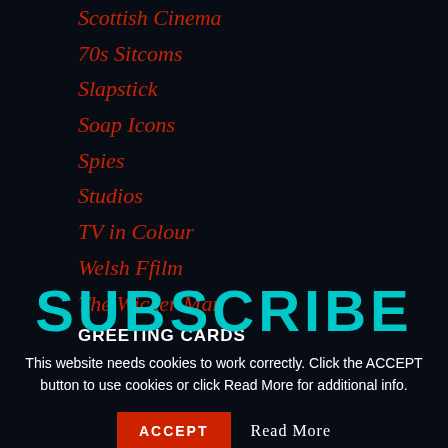Scottish Cinema
70s Sitcoms
Slapstick
Soap Icons
Spies
Studios
TV in Colour
Welsh Ffilm
The Wicker Man
GREETING CARDS
SUBSCRIBE
This website needs cookies to work correctly. Click the ACCEPT button to use cookies or click Read More for additional info.
ACCEPT   Read More